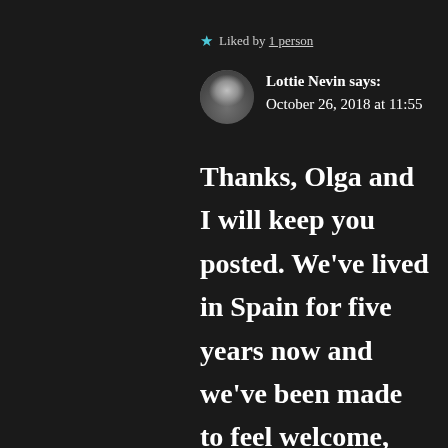★ Liked by 1 person
Lottie Nevin says: October 26, 2018 at 11:55
Thanks, Olga and I will keep you posted. We've lived in Spain for five years now and we've been made to feel welcome, wherever we go. Very humbling. I know that there are feuds and bickering but that's the